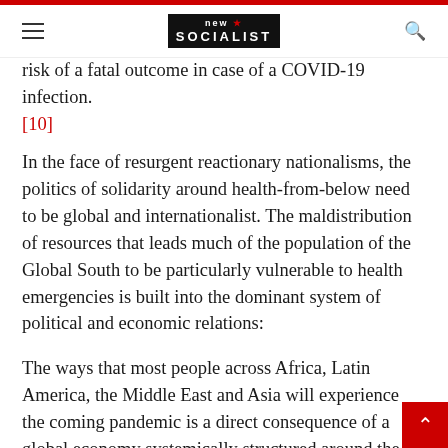new socialist
risk of a fatal outcome in case of a COVID-19 infection. [10]
In the face of resurgent reactionary nationalisms, the politics of solidarity around health-from-below need to be global and internationalist. The maldistribution of resources that leads much of the population of the Global South to be particularly vulnerable to health emergencies is built into the dominant system of political and economic relations:
The ways that most people across Africa, Latin America, the Middle East and Asia will experience the coming pandemic is a direct consequence of a global economy systemically structured around the exploitation of the resources and peoples of the South. In this sense, the